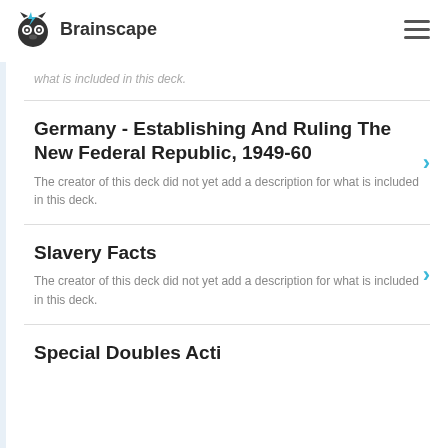Brainscape
what is included in this deck.
Germany - Establishing And Ruling The New Federal Republic, 1949-60
The creator of this deck did not yet add a description for what is included in this deck.
Slavery Facts
The creator of this deck did not yet add a description for what is included in this deck.
Special Doubles Acti...